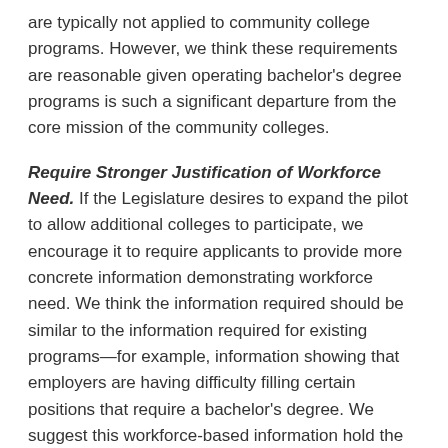are typically not applied to community college programs. However, we think these requirements are reasonable given operating bachelor's degree programs is such a significant departure from the core mission of the community colleges.
Require Stronger Justification of Workforce Need. If the Legislature desires to expand the pilot to allow additional colleges to participate, we encourage it to require applicants to provide more concrete information demonstrating workforce need. We think the information required should be similar to the information required for existing programs—for example, information showing that employers are having difficulty filling certain positions that require a bachelor's degree. We suggest this workforce-based information hold the greatest weight in the application review process. We also encourage the Legislature to require that any college authorized to offer a new bachelor's